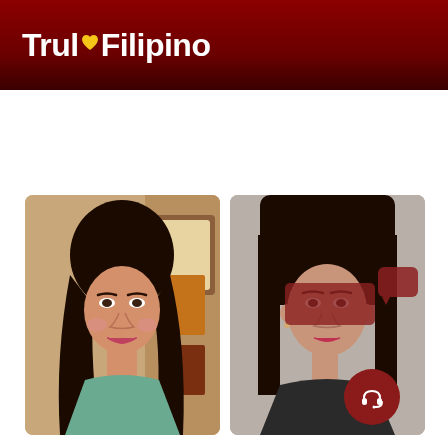[Figure (logo): TrulyFilipino logo on dark red gradient header bar. White text reading 'TrulyFilipino' with a yellow/gold heart icon replacing the letter 'l' in 'Truly'.]
[Figure (photo): Two profile photos of young Filipino women side by side. Left photo: woman with long dark wavy hair, smiling, colorful background. Right photo: woman with straight black hair facing camera, light gray wall background, face partially obscured by a dark red redaction block. A dark red chat bubble overlay appears over the right photo, and a circular headset/support icon button appears at bottom right.]